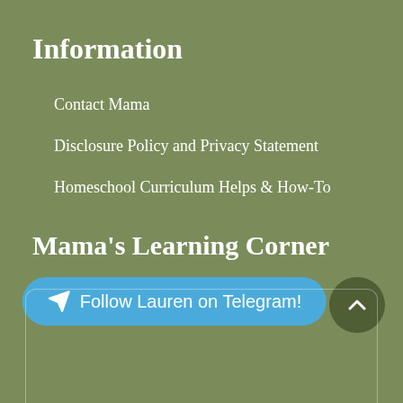Information
Contact Mama
Disclosure Policy and Privacy Statement
Homeschool Curriculum Helps & How-To
Mama's Learning Corner
Follow Lauren on Telegram!
[Figure (other): Empty card outline at bottom of page]